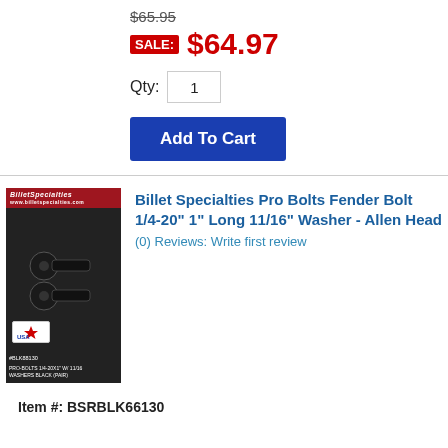$65.95
SALE: $64.97
Qty: 1
Add To Cart
Billet Specialties Pro Bolts Fender Bolt 1/4-20" 1" Long 11/16" Washer - Allen Head
(0) Reviews: Write first review
[Figure (photo): Product photo of Billet Specialties Pro Bolts Fender Bolt package with USA badge]
Item #: BSRBLK66130